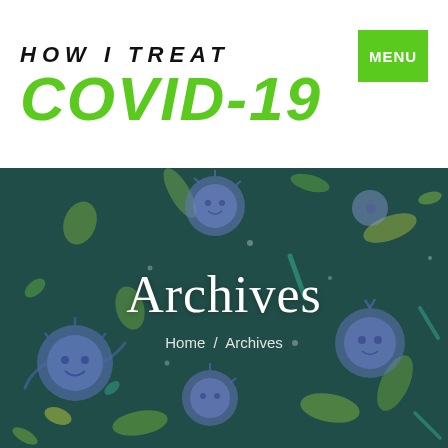HOW I TREAT COVID-19
MENU
[Figure (illustration): Dark teal background with cartoon microbe/virus/bacteria illustrations in blue-purple and yellow-green colors scattered across the image]
Archives
Home / Archives